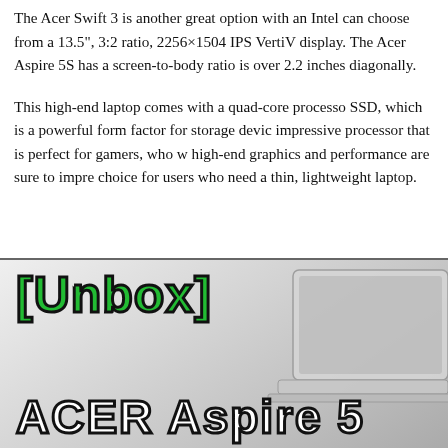The Acer Swift 3 is another great option with an Intel can choose from a 13.5", 3:2 ratio, 2256×1504 IPS VertiV display. The Acer Aspire 5S has a screen-to-body ratio is over 2.2 inches diagonally.
This high-end laptop comes with a quad-core processor SSD, which is a powerful form factor for storage devic impressive processor that is perfect for gamers, who w high-end graphics and performance are sure to impre choice for users who need a thin, lightweight laptop.
[Figure (photo): Unboxing thumbnail image for ACER Aspire 5 with green [Unbox] logo text and a silver laptop partially visible on the right side against a grey gradient background.]